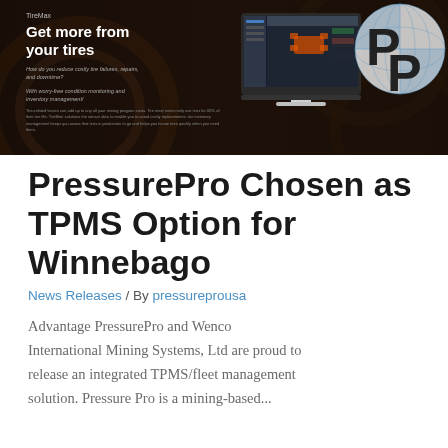[Figure (screenshot): TireMax advertisement banner showing a dark background with mining/tire imagery. Left side has TireMax branding with headline 'Get more from your tires' and subtext about reducing costly tire failures. Center shows a computer monitor with fleet management software. Right side has a large PP (PressurePro) logo in a grey circle.]
PressurePro Chosen as TPMS Option for Winnebago
News Releases / By pressureprousa
Advantage PressurePro and Wenco International Mining Systems, Ltd are proud to release an integrated TPMS/fleet management solution. Pressure Pro is a mining-based...